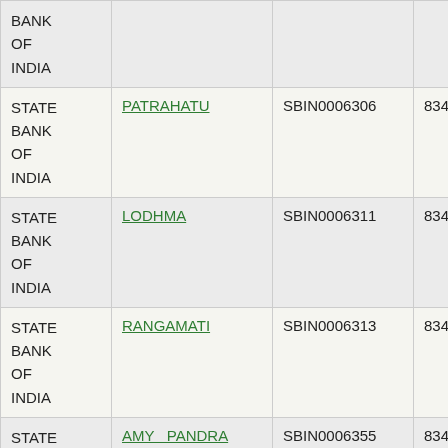| Bank | Branch | IFSC | Phone |
| --- | --- | --- | --- |
| STATE BANK OF INDIA |  |  |  |
| STATE BANK OF INDIA | PATRAHATU | SBIN0006306 | 834002506 |
| STATE BANK OF INDIA | LODHMA | SBIN0006311 | 834002507 |
| STATE BANK OF INDIA | RANGAMATI | SBIN0006313 | 834002508 |
| STATE BANK OF INDIA | AMY PANDRA RANCHI | SBIN0006355 | 834002011 |